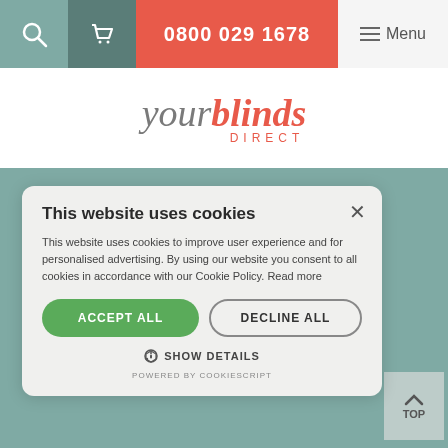0800 029 1678  ☰ Menu
[Figure (logo): yourblinds DIRECT logo — 'your' in grey italic serif, 'blinds' in coral/red italic serif bold, 'DIRECT' in coral spaced capitals below]
[Figure (screenshot): Teal/sage green background section with 'Latest News' and 'The latest news from Your Blinds Direct' watermark text visible behind cookie consent modal. A 'TOP' scroll button is visible at bottom right.]
This website uses cookies
This website uses cookies to improve user experience and for personalised advertising. By using our website you consent to all cookies in accordance with our Cookie Policy. Read more
ACCEPT ALL
DECLINE ALL
⚙ SHOW DETAILS
POWERED BY COOKIESCRIPT